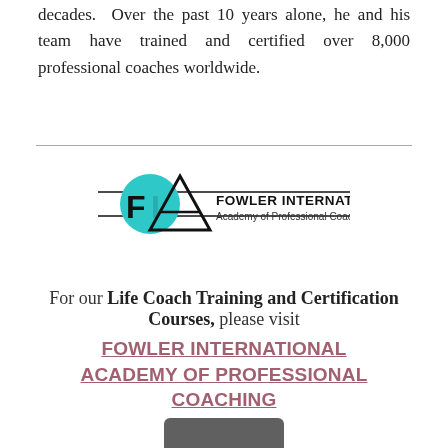decades. Over the past 10 years alone, he and his team have trained and certified over 8,000 professional coaches worldwide.
[Figure (logo): FIA Fowler International Academy of Professional Coaching logo with teal circular emblem and horizontal lines]
For our Life Coach Training and Certification Courses, please visit FOWLER INTERNATIONAL ACADEMY OF PROFESSIONAL COACHING